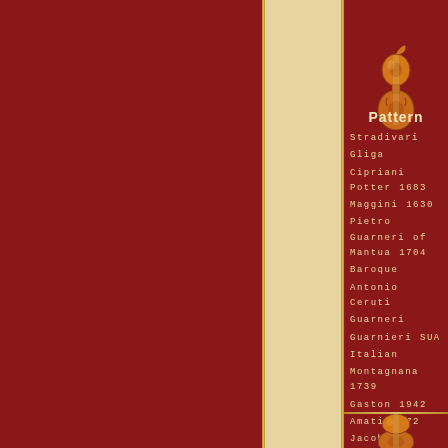[Figure (illustration): Violin/viola illustration in orange and gold tones on dark red background]
Pattern
Stradivari
Gliga
Cipriani Potter 1683
Maggini 1630
Pietro Guarneri of Mantua 1704
Baroque
Antonio Ceruti
Guarneri
Guarnieri SUA
Italian
Montagnana 1739
Gaston 1942
Amati 1572
Jacobus Stainer 1716
[Figure (illustration): Partial violin/viola illustration at bottom, same style as top]